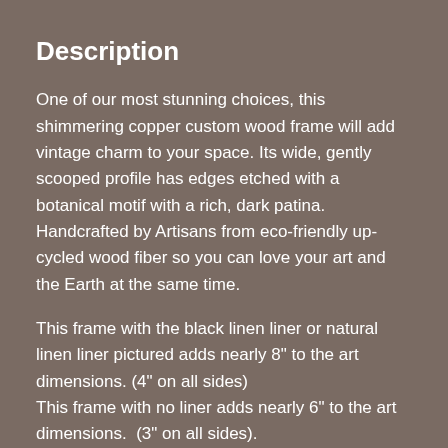Description
One of our most stunning choices, this shimmering copper custom wood frame will add vintage charm to your space. Its wide, gently scooped profile has edges etched with a botanical motif with a rich, dark patina. Handcrafted by Artisans from eco-friendly up-cycled wood fiber so you can love your art and the Earth at the same time.
This frame with the black linen liner or natural linen liner pictured adds nearly 8" to the art dimensions. (4" on all sides)
This frame with no liner adds nearly 6" to the art dimensions.  (3" on all sides).
Shown with Eric Christensen's artwork - French